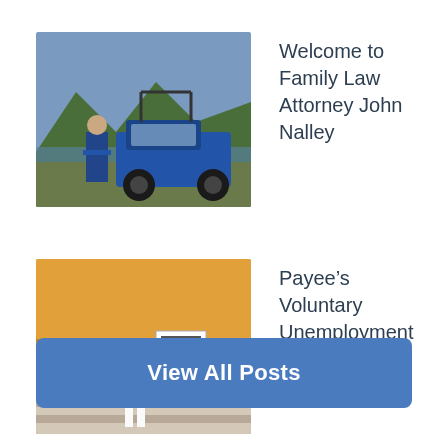[Figure (photo): Photo of a person standing next to a blue off-road vehicle (ATV/UTV) near a lake and mountains]
Welcome to Family Law Attorney John Nalley
[Figure (photo): Photo of a person sitting on outdoor steps holding a sign]
Payee’s Voluntary Unemployment Off-Limits for Alimony
View All Posts